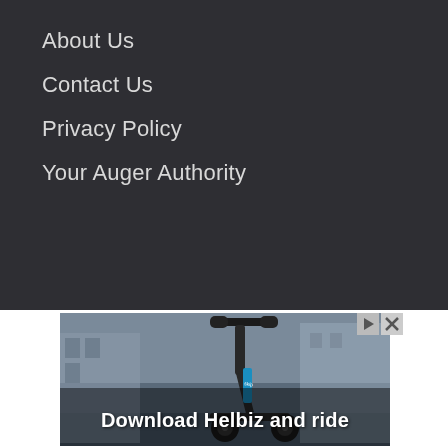About Us
Contact Us
Privacy Policy
Your Auger Authority
[Figure (photo): Advertisement showing an electric scooter with handlebars visible. Text overlay reads 'Download Helbiz and ride'. Ad controls (play and close buttons) visible in top-right corner.]